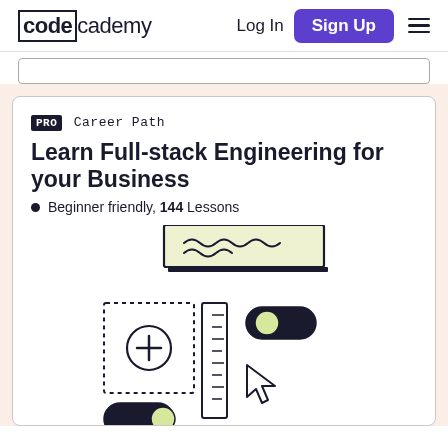codecademy — Log In | Sign Up
PRO Career Path
Learn Full-stack Engineering for your Business
Beginner friendly, 144 Lessons
[Figure (illustration): UI/UX design illustration showing a text input field, a dotted square with a plus button, a ruler/slider, a toggle switch (on), a cursor arrow, and another toggle switch (off).]